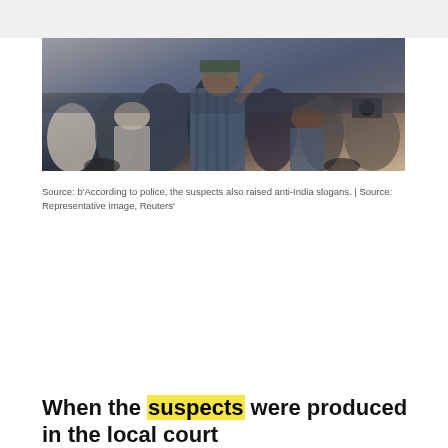[Figure (photo): A crowd of people, some on motorcycles, in an outdoor setting. One person in the center wears a checked shirt and hat. The image appears to show a public gathering or protest scene.]
Source: b'According to police, the suspects also raised anti-India slogans. | Source: Representative image, Reuters'
When the suspects were produced in the local court